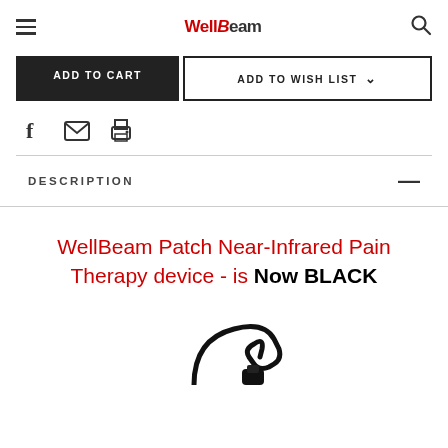WellBeam (logo) | hamburger menu | search icon
ADD TO CART | ADD TO WISH LIST
[Figure (other): Social sharing icons: Facebook, email/envelope, print/printer]
DESCRIPTION
WellBeam Patch Near-Infrared Pain Therapy device - is Now BLACK
[Figure (photo): Partial photo of the WellBeam Patch Near-Infrared Pain Therapy device in black color, showing a curved cable/connector]